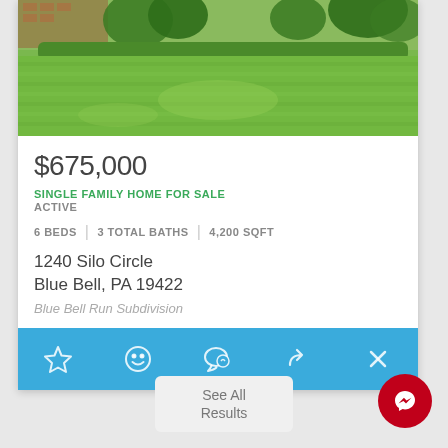[Figure (photo): Exterior photo of a single-family home with a large green lawn in the foreground, brick structure and trees visible in the background]
$675,000
SINGLE FAMILY HOME FOR SALE
ACTIVE
6 BEDS | 3 TOTAL BATHS | 4,200 SQFT
1240 Silo Circle
Blue Bell, PA 19422
Blue Bell Run Subdivision
[Figure (screenshot): Action bar with icons: star (favorite), smiley face, chat bubble, share arrow, and X (close)]
See All Results
[Figure (logo): Facebook Messenger icon button (dark red circle with lightning bolt messenger logo)]